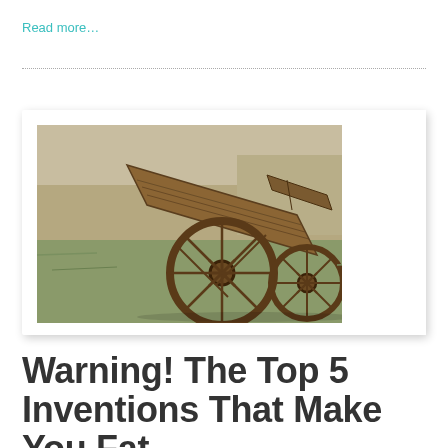Read more…
[Figure (photo): An old broken wooden wagon with large spoked wheels, lying tilted on a grassy field. The wagon appears to be an antique farm implement photographed in a rural landscape.]
Warning! The Top 5 Inventions That Make You Fat